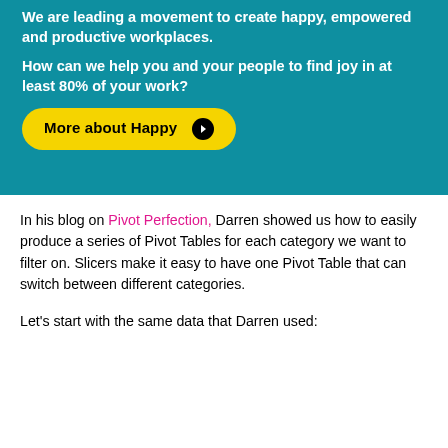We are leading a movement to create happy, empowered and productive workplaces.
How can we help you and your people to find joy in at least 80% of your work?
More about Happy →
In his blog on Pivot Perfection, Darren showed us how to easily produce a series of Pivot Tables for each category we want to filter on. Slicers make it easy to have one Pivot Table that can switch between different categories.
Let's start with the same data that Darren used: